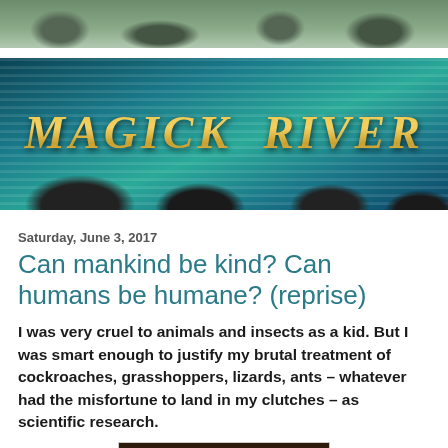[Figure (photo): Top decorative banner with green leafy/stone background]
[Figure (photo): Magick River blog header banner with river water and rocks, yellow-gold italic text reading MAGICK RIVER]
Saturday, June 3, 2017
Can mankind be kind? Can humans be humane? (reprise)
I was very cruel to animals and insects as a kid. But I was smart enough to justify my brutal treatment of cockroaches, grasshoppers, lizards, ants – whatever had the misfortune to land in my clutches – as scientific research.
[Figure (photo): Partial photo of an animal (appears to be a cat or similar creature), cropped at the bottom of the page]